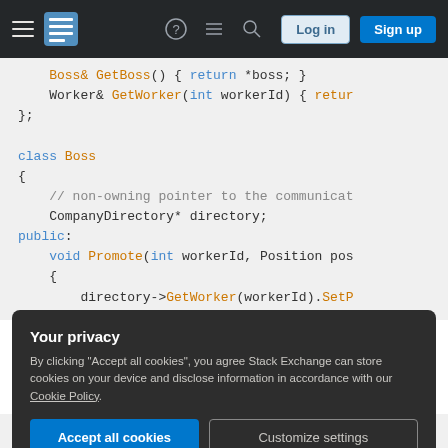Stack Exchange navigation bar with logo, icons, Log in and Sign up buttons
[Figure (screenshot): Code snippet showing C++ class Boss with GetBoss, GetWorker methods, CompanyDirectory pointer, public Promote method, and directory->GetWorker call]
Your privacy
By clicking "Accept all cookies", you agree Stack Exchange can store cookies on your device and disclose information in accordance with our Cookie Policy.
Accept all cookies | Customize settings
worker, is the responsibility of